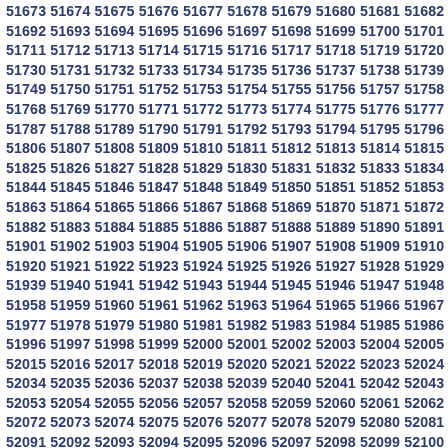51673 51674 51675 51676 51677 51678 51679 51680 51681 51682 51683 516...
51692 51693 51694 51695 51696 51697 51698 51699 51700 51701 51702 517...
51711 51712 51713 51714 51715 51716 51717 51718 51719 51720 51721 517...
51730 51731 51732 51733 51734 51735 51736 51737 51738 51739 51740 517...
51749 51750 51751 51752 51753 51754 51755 51756 51757 51758 51759 517...
51768 51769 51770 51771 51772 51773 51774 51775 51776 51777 51778 517...
51787 51788 51789 51790 51791 51792 51793 51794 51795 51796 51797 517...
51806 51807 51808 51809 51810 51811 51812 51813 51814 51815 51816 518...
51825 51826 51827 51828 51829 51830 51831 51832 51833 51834 51835 518...
51844 51845 51846 51847 51848 51849 51850 51851 51852 51853 51854 518...
51863 51864 51865 51866 51867 51868 51869 51870 51871 51872 51873 518...
51882 51883 51884 51885 51886 51887 51888 51889 51890 51891 51892 518...
51901 51902 51903 51904 51905 51906 51907 51908 51909 51910 51911 519...
51920 51921 51922 51923 51924 51925 51926 51927 51928 51929 51930 519...
51939 51940 51941 51942 51943 51944 51945 51946 51947 51948 51949 519...
51958 51959 51960 51961 51962 51963 51964 51965 51966 51967 51968 519...
51977 51978 51979 51980 51981 51982 51983 51984 51985 51986 51987 519...
51996 51997 51998 51999 52000 52001 52002 52003 52004 52005 52006 520...
52015 52016 52017 52018 52019 52020 52021 52022 52023 52024 52025 520...
52034 52035 52036 52037 52038 52039 52040 52041 52042 52043 52044 520...
52053 52054 52055 52056 52057 52058 52059 52060 52061 52062 52063 520...
52072 52073 52074 52075 52076 52077 52078 52079 52080 52081 52082 520...
52091 52092 52093 52094 52095 52096 52097 52098 52099 52100 52101 521...
52110 52111 52112 52113 52114 52115 52116 52117 52118 52119 52120 ...